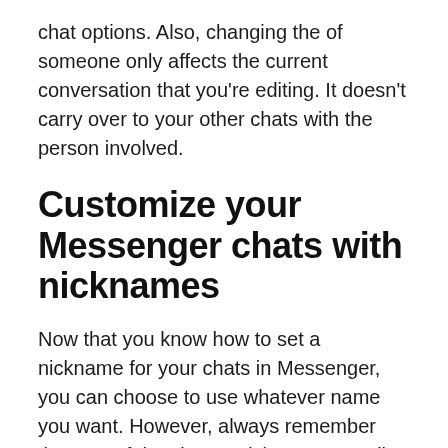chat options. Also, changing the of someone only affects the current conversation that you're editing. It doesn't carry over to your other chats with the person involved.
Customize your Messenger chats with nicknames
Now that you know how to set a nickname for your chats in Messenger, you can choose to use whatever name you want. However, always remember that any of the chat participants can edit nicknames whenever they want.
They'll for account For some of the most d